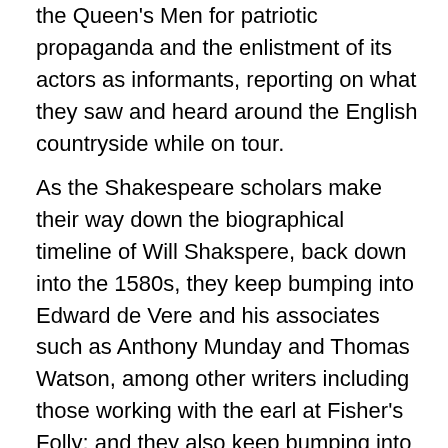the Queen's Men for patriotic propaganda and the enlistment of its actors as informants, reporting on what they saw and heard around the English countryside while on tour.
As the Shakespeare scholars make their way down the biographical timeline of Will Shakspere, back down into the 1580s, they keep bumping into Edward de Vere and his associates such as Anthony Munday and Thomas Watson, among other writers including those working with the earl at Fisher's Folly; and they also keep bumping into those early versions of the Shakespearean history plays. Dare they suggest he collaborated on, say, The Troublesome Reign of King John or The True Tragedy of Richard III?  Once out on a long limb, there is little choice but to keep crawling farther out until it breaks; and when it